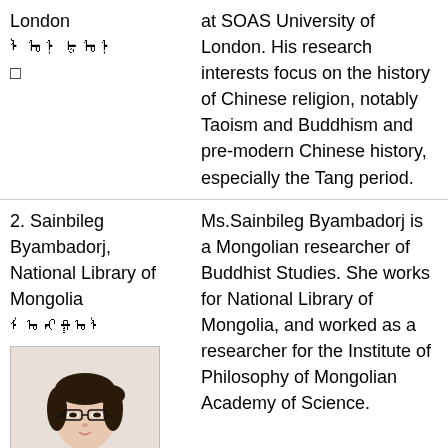| London ᠯᠣᠨᠳᠣᠨ
□ | at SOAS University of London. His research interests focus on the history of Chinese religion, notably Taoism and Buddhism and pre-modern Chinese history, especially the Tang period. |
| 2. Sainbileg Byambadorj, National Library of Mongolia ᠮᠣᠩᠭᠣᠯ
[photo] | Ms.Sainbileg Byambadorj is a Mongolian researcher of Buddhist Studies. She works for National Library of Mongolia, and worked as a researcher for the Institute of Philosophy of Mongolian Academy of Science. |